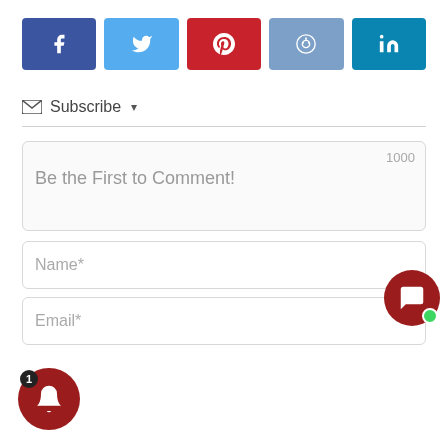[Figure (infographic): Social share buttons row: Facebook (dark blue), Twitter (light blue), Pinterest (red), Reddit (medium blue), LinkedIn (teal blue)]
✉ Subscribe ▼
[Figure (infographic): Comment text area with placeholder 'Be the First to Comment!' and character count 1000 in top right]
[Figure (infographic): Name* input field]
[Figure (infographic): Email* input field]
[Figure (infographic): Dark red chat bubble widget with green online dot, positioned bottom right]
[Figure (infographic): Dark red bell notification circle icon with badge showing '1', positioned bottom left]